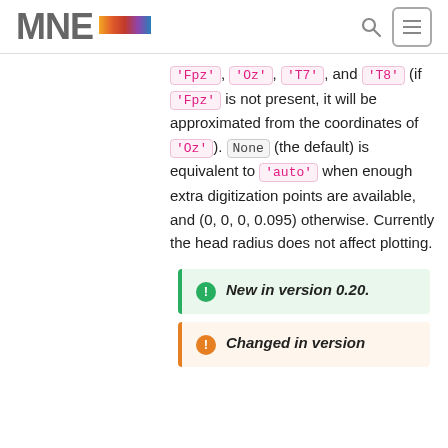MNE
'Fpz', 'Oz', 'T7', and 'T8' (if 'Fpz' is not present, it will be approximated from the coordinates of 'Oz'). None (the default) is equivalent to 'auto' when enough extra digitization points are available, and (0, 0, 0, 0.095) otherwise. Currently the head radius does not affect plotting.
New in version 0.20.
Changed in version